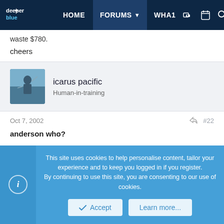DeeperBlue | HOME | FORUMS | WHAT
waste $780.
cheers
[Figure (photo): Forum user avatar for icarus pacific showing a person diving/fishing outdoors]
icarus pacific
Human-in-training
Oct 7, 2002  #22
anderson who?
This site uses cookies to help personalise content, tailor your experience and to keep you logged in if you register.
By continuing to use this site, you are consenting to our use of cookies.
Accept  Learn more...